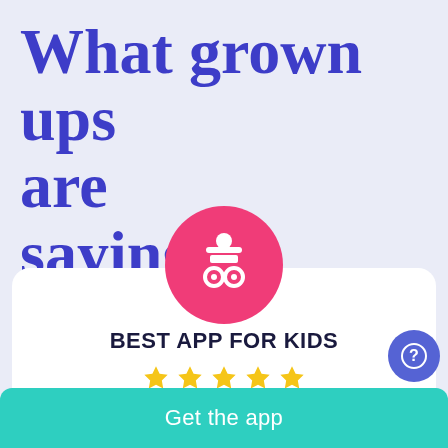What grown ups are saying
[Figure (logo): Pink circular badge with a white icon of a person wearing a hat above two wheels/eyes, representing a kids app award badge]
BEST APP FOR KIDS
[Figure (infographic): Five gold star rating icons in a row]
Get the app